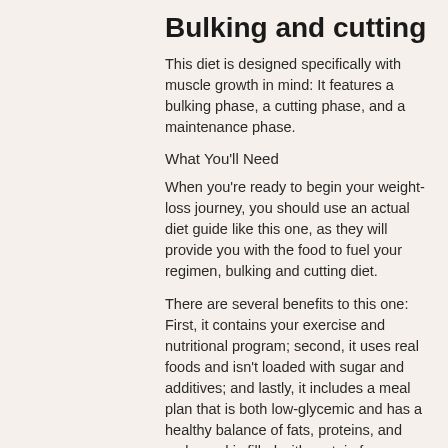Bulking and cutting
This diet is designed specifically with muscle growth in mind: It features a bulking phase, a cutting phase, and a maintenance phase.
What You'll Need
When you're ready to begin your weight-loss journey, you should use an actual diet guide like this one, as they will provide you with the food to fuel your regimen, bulking and cutting diet.
There are several benefits to this one: First, it contains your exercise and nutritional program; second, it uses real foods and isn't loaded with sugar and additives; and lastly, it includes a meal plan that is both low-glycemic and has a healthy balance of fats, proteins, and carbs and is filled with protein from meat, poultry, and fish.